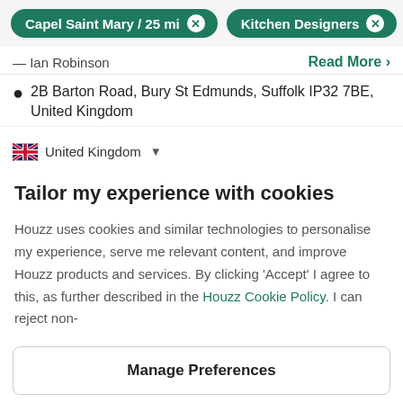Capel Saint Mary / 25 mi  Kitchen Designers
— Ian Robinson    Read More >
2B Barton Road, Bury St Edmunds, Suffolk IP32 7BE, United Kingdom
United Kingdom ▾
Tailor my experience with cookies
Houzz uses cookies and similar technologies to personalise my experience, serve me relevant content, and improve Houzz products and services. By clicking 'Accept' I agree to this, as further described in the Houzz Cookie Policy. I can reject non-
Manage Preferences
Accept